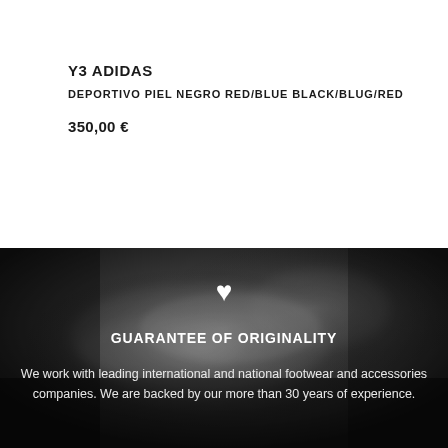Y3 ADIDAS
DEPORTIVO PIEL NEGRO RED/BLUE BLACK/BLUG/RED
350,00 €
[Figure (photo): Black and white close-up photograph of a shoe with smoky/dusty texture, dark background]
GUARANTEE OF ORIGINALITY
We work with leading international and national footwear and accessories companies. We are backed by our more than 30 years of experience.